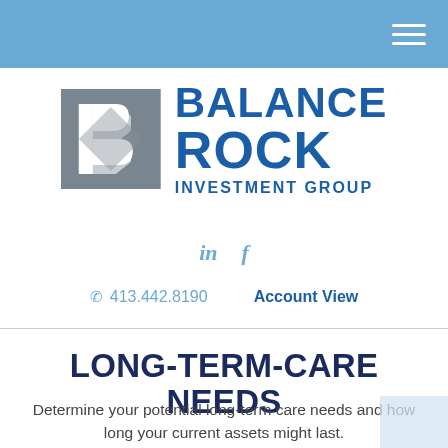Balance Rock Investment Group — navigation header with hamburger menu
[Figure (logo): Balance Rock Investment Group logo: grey square icon with stylized B letterform in white, beside bold blue text reading BALANCE ROCK INVESTMENT GROUP]
in  f
413.442.8190   Account View
LONG-TERM-CARE NEEDS
Determine your potential long-term care needs and how long your current assets might last.